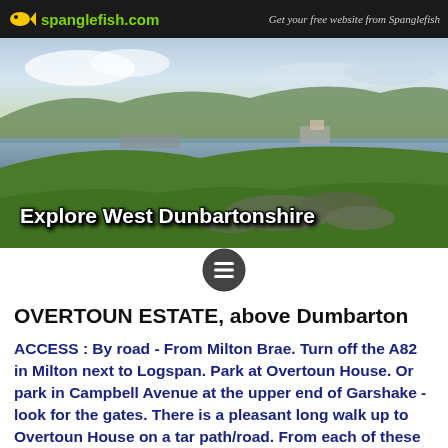spanglefish.com | Get your free website from Spanglefish
[Figure (photo): Aerial/elevated landscape photo showing a green hillside with purple heather, a body of water (river or loch) in the middle distance, and hills beyond under a partly cloudy sky. Text overlay: Explore West Dunbartonshire]
OVERTOUN ESTATE, above Dumbarton
ACCESS : By road - From Milton Brae. Turn off the A82 in Milton next to Logspan. Park at Overtoun House. Or park in Campbell Avenue at the upper end of Garshake - look for the gates. There is a pleasant long walk up to Overtoun House on a tar path/road. From each of these there